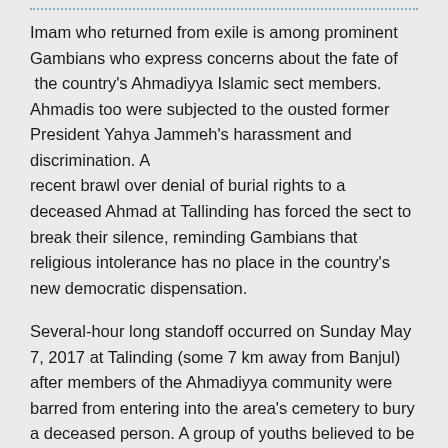Imam who returned from exile is among prominent Gambians who express concerns about the fate of the country's Ahmadiyya Islamic sect members. Ahmadis too were subjected to the ousted former President Yahya Jammeh's harassment and discrimination. A recent brawl over denial of burial rights to a deceased Ahmad at Tallinding has forced the sect to break their silence, reminding Gambians that religious intolerance has no place in the country's new democratic dispensation.
Several-hour long standoff occurred on Sunday May 7, 2017 at Talinding (some 7 km away from Banjul) after members of the Ahmadiyya community were barred from entering into the area's cemetery to bury a deceased person. A group of youths believed to be